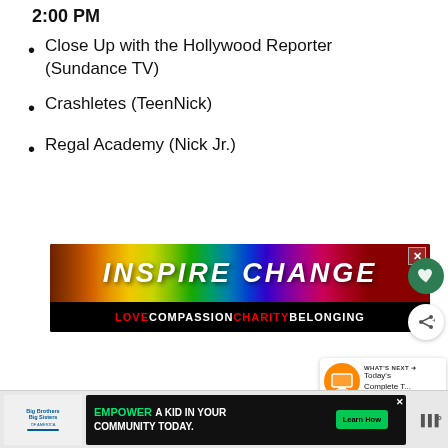2:00 PM
Close Up with the Hollywood Reporter (Sundance TV)
Crashletes (TeenNick)
Regal Academy (Nick Jr.)
[Figure (screenshot): INSPIRE CHANGE advertisement banner with rainbow gradient background, text reading LOVE COMPASSION CHARITY BELONGING]
[Figure (screenshot): What's Next widget showing Today's Complete T...]
[Figure (screenshot): Footer bar with Big Brothers Big Sisters logo and EMPOWER A KID IN YOUR COMMUNITY TODAY promotion with Learn How button]